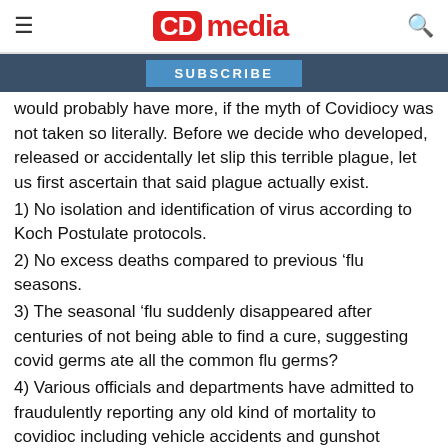CD media
SUBSCRIBE
would probably have more, if the myth of Covidiocy was not taken so literally. Before we decide who developed, released or accidentally let slip this terrible plague, let us first ascertain that said plague actually exist.
1) No isolation and identification of virus according to Koch Postulate protocols.
2) No excess deaths compared to previous ‘flu seasons.
3) The seasonal ‘flu suddenly disappeared after centuries of not being able to find a cure, suggesting covid germs ate all the common flu germs?
4) Various officials and departments have admitted to fraudulently reporting any old kind of mortality to covidiocy including vehicle accidents and gunshot wounds, “he died with covid” not “of”. (96% of deaths falsely blamed on covidiocy, as